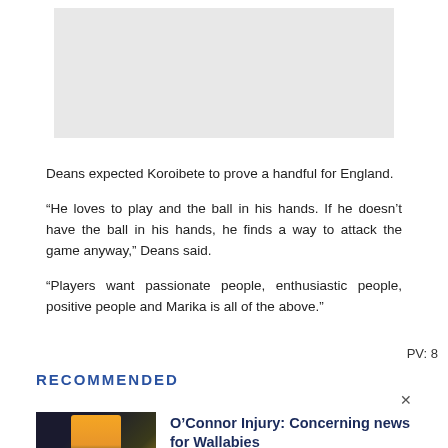[Figure (other): Gray advertisement placeholder box at top of page]
Deans expected Koroibete to prove a handful for England.
“He loves to play and the ball in his hands. If he doesn’t have the ball in his hands, he finds a way to attack the game anyway,” Deans said.
“Players want passionate people, enthusiastic people, positive people and Marika is all of the above.”
PV: 8
RECOMMENDED
[Figure (photo): Photo of rugby player in yellow/gold Australia Wallabies jersey against dark background]
O’Connor Injury: Concerning news for Wallabies